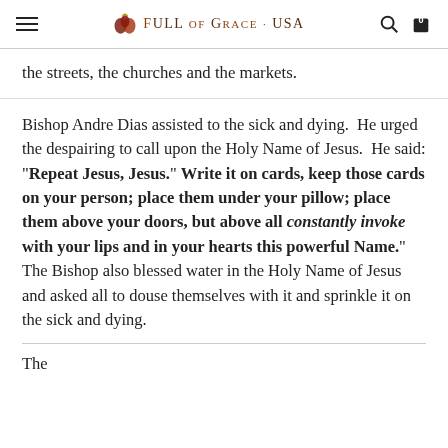Full of Grace USA
the streets, the churches and the markets.
Bishop Andre Dias assisted to the sick and dying. He urged the despairing to call upon the Holy Name of Jesus. He said: "Repeat Jesus, Jesus." Write it on cards, keep those cards on your person; place them under your pillow; place them above your doors, but above all constantly invoke with your lips and in your hearts this powerful Name." The Bishop also blessed water in the Holy Name of Jesus and asked all to douse themselves with it and sprinkle it on the sick and dying.
The...